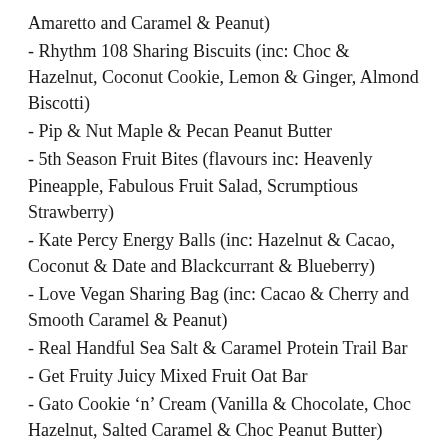Amaretto and Caramel & Peanut)
- Rhythm 108 Sharing Biscuits (inc: Choc & Hazelnut, Coconut Cookie, Lemon & Ginger, Almond Biscotti)
- Pip & Nut Maple & Pecan Peanut Butter
- 5th Season Fruit Bites (flavours inc: Heavenly Pineapple, Fabulous Fruit Salad, Scrumptious Strawberry)
- Kate Percy Energy Balls (inc: Hazelnut & Cacao, Coconut & Date and Blackcurrant & Blueberry)
- Love Vegan Sharing Bag (inc: Cacao & Cherry and Smooth Caramel & Peanut)
- Real Handful Sea Salt & Caramel Protein Trail Bar
- Get Fruity Juicy Mixed Fruit Oat Bar
- Gato Cookie ‘n’ Cream (Vanilla & Chocolate, Choc Hazelnut, Salted Caramel & Choc Peanut Butter)
Every day we hear about all of the wonderful work that our emergency services are doing, saving lives, rescuing people, providing safety, putting themselves before others and so much more.